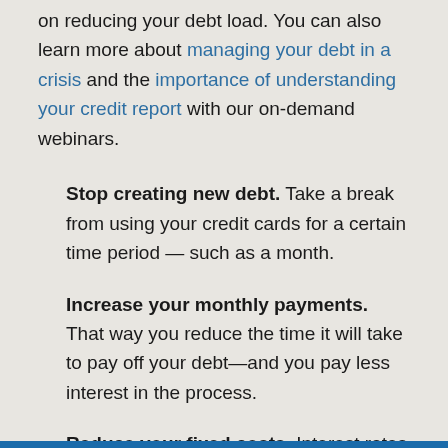on reducing your debt load. You can also learn more about managing your debt in a crisis and the importance of understanding your credit report with our on-demand webinars.
Stop creating new debt. Take a break from using your credit cards for a certain time period — such as a month.
Increase your monthly payments. That way you reduce the time it will take to pay off your debt—and you pay less interest in the process.
Reduce your fixed costs. Interest rates are